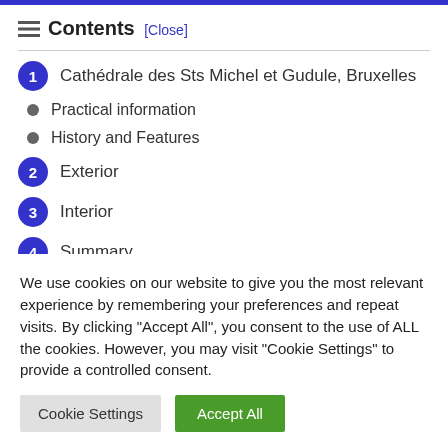☰ Contents [Close]
1 Cathédrale des Sts Michel et Gudule, Bruxelles
● Practical information
● History and Features
2 Exterior
3 Interior
4 Summary
We use cookies on our website to give you the most relevant experience by remembering your preferences and repeat visits. By clicking "Accept All", you consent to the use of ALL the cookies. However, you may visit "Cookie Settings" to provide a controlled consent.
Cookie Settings | Accept All